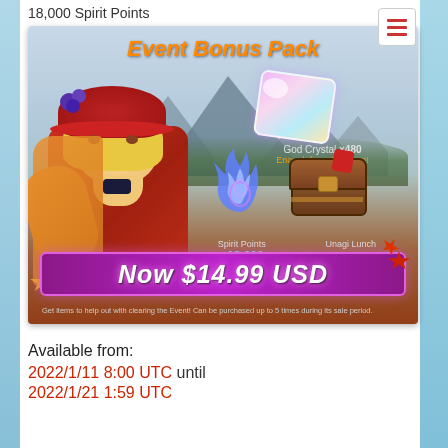18,000 Spirit Points
[Figure (illustration): Event Bonus Pack promotional banner for a mobile game. Shows an anime-style girl character in red/orange kimono with blonde hair and red hat. Items shown: God Crystal x480 (Enough for a Costume!), Spirit Points x18,000, Unagi Lunch x2. Price: Now $14.99 USD. Fine print: Get items to help out with clearing the Event! Can be purchased up to 5 times during its sale period.]
Available from:
2022/1/11 8:00 UTC  until
2022/1/21 1:59 UTC